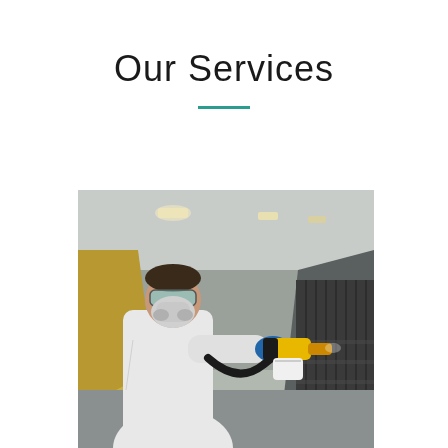Our Services
[Figure (photo): A technician in a white protective suit, safety goggles, and respirator mask, using a yellow and black spray paint gun with a hose and white cup, painting a dark corrugated surface in an industrial facility with ceiling lights visible in the background.]